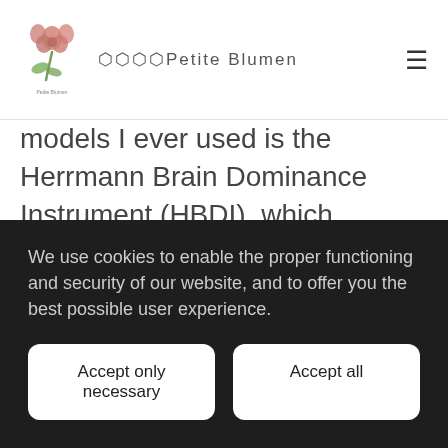小花某某 Petite Blumen
models I ever used is the Herrmann Brain Dominance Instrument (HBDI), which describes thinking/working preferences in people. HBDI divides the brain into four quadrants. Each quadrant represents a different function of the brain: Analytical, Practical, Relational, Experimental. While everybody has these quadrants, the model advocates that we all have a preferred way
We use cookies to enable the proper functioning and security of our website, and to offer you the best possible user experience.
Accept only necessary
Accept all